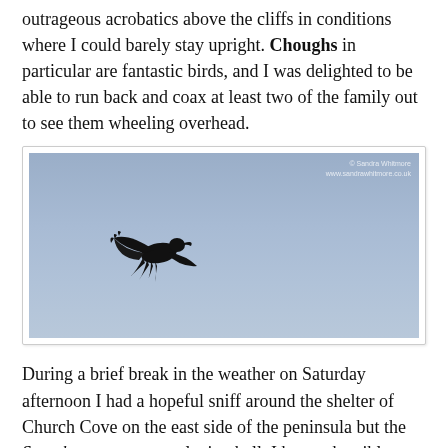outrageous acrobatics above the cliffs in conditions where I could barely stay upright. Choughs in particular are fantastic birds, and I was delighted to be able to run back and coax at least two of the family out to see them wheeling overhead.
[Figure (photo): A black bird (chough) in silhouette flying against a pale blue-grey sky, photographed from below.]
During a brief break in the weather on Saturday afternoon I had a hopeful sniff around the shelter of Church Cove on the east side of the peninsula but the Setophagas were not playing ball. I have a horrible feeling that in the coming days somebody will dig out something utterly mind-blowing from one the Cornish valleys, but that person will not be me as